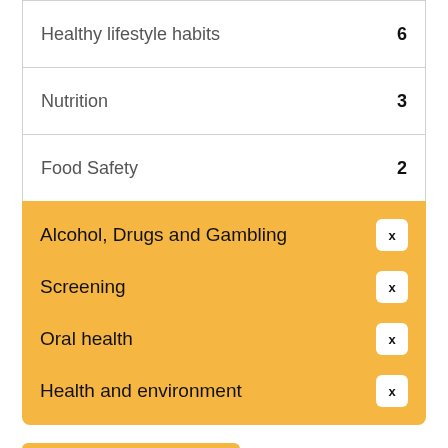Healthy lifestyle habits  6
Nutrition  3
Food Safety  2
Alcohol, Drugs and Gambling  x
Screening  x
Oral health  x
Health and environment  x
PRINT PAGE